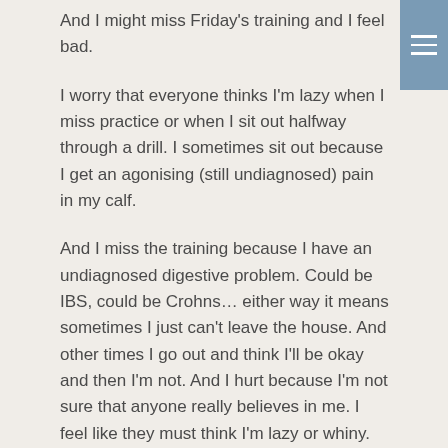And I might miss Friday's training and I feel bad.
I worry that everyone thinks I'm lazy when I miss practice or when I sit out halfway through a drill. I sometimes sit out because I get an agonising (still undiagnosed) pain in my calf.
And I miss the training because I have an undiagnosed digestive problem. Could be IBS, could be Crohns… either way it means sometimes I just can't leave the house. And other times I go out and think I'll be okay and then I'm not. And I hurt because I'm not sure that anyone really believes in me. I feel like they must think I'm lazy or whiny.